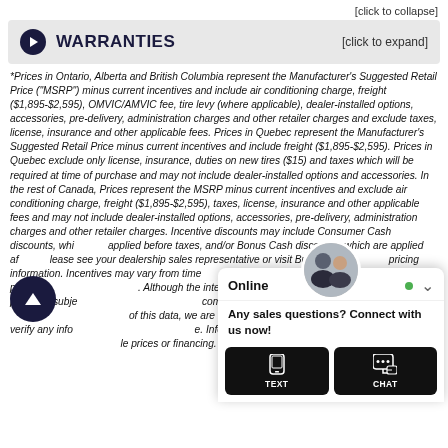[click to collapse]
WARRANTIES   [click to expand]
*Prices in Ontario, Alberta and British Columbia represent the Manufacturer's Suggested Retail Price ("MSRP") minus current incentives and include air conditioning charge, freight ($1,895-$2,595), OMVIC/AMVIC fee, tire levy (where applicable), dealer-installed options, accessories, pre-delivery, administration charges and other retailer charges and exclude taxes, license, insurance and other applicable fees. Prices in Quebec represent the Manufacturer's Suggested Retail Price minus current incentives and include freight ($1,895-$2,595). Prices in Quebec exclude only license, insurance, duties on new tires ($15) and taxes which will be required at time of purchase and may not include dealer-installed options and accessories. In the rest of Canada, Prices represent the MSRP minus current incentives and exclude air conditioning charge, freight ($1,895-$2,595), taxes, license, insurance and other applicable fees and may not include dealer-installed options, accessories, pre-delivery, administration charges and other retailer charges. Incentive discounts may include Consumer Cash discounts, which are applied before taxes, and/or Bonus Cash discounts, which are applied after. Please see your dealership sales representative or visit Build and Price for pricing information. Incentives may vary from time to time and may vary considerably by model, trim and engine option selected. All prices are in Canadian dollars (unless otherwise indicated). Although the intention is to capture current incentives and prices as of the date of publication, pricing is subject to change without notice. Please see that all pricing is completely current. While we make every effort to ensure the accuracy of this data, we are not responsible for any errors or omissions contained on these pages. Please verify any information in question with a dealership sales representative. Information provided at this website is for informational purposes only. While prices or financing. The dealer offers is for